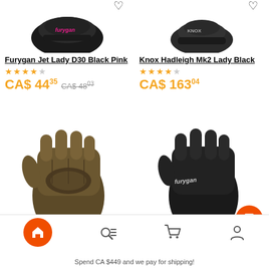[Figure (photo): Furygan Jet Lady D30 Black Pink motorcycle glove product photo, partial view from top]
[Figure (photo): Knox Hadleigh Mk2 Lady Black motorcycle glove product photo, partial view from top]
Furygan Jet Lady D30 Black Pink
★★★★☆ (4 stars)
CA$ 44.35   CA$ 48.03 (strikethrough)
Knox Hadleigh Mk2 Lady Black
★★★★☆ (4 stars)
CA$ 163.04
[Figure (photo): Olive/brown leather motorcycle glove product photo, full glove visible]
[Figure (photo): Black Furygan motorcycle glove product photo with scroll-to-top orange button overlay]
Spend CA $449 and we pay for shipping!